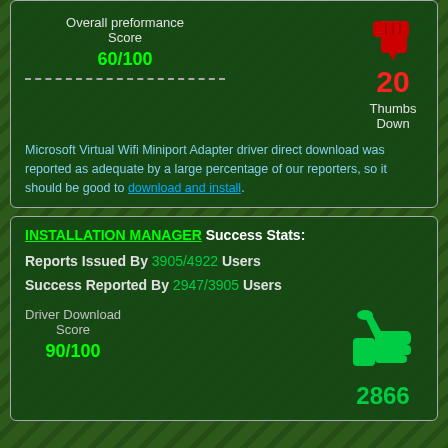Overall preformance Score
60/100
[Figure (illustration): Thumbs down icon in red]
20 Thumbs Down
Microsoft Virtual Wifi Miniport Adapter driver direct download was reported as adequate by a large percentage of our reporters, so it should be good to download and install.
INSTALLATION MANAGER Success Stats:
Reports Issued By 3905/4922 Users
Success Reported By 2947/3905 Users
Driver Download Score
90/100
[Figure (illustration): Thumbs up icon in green]
2866